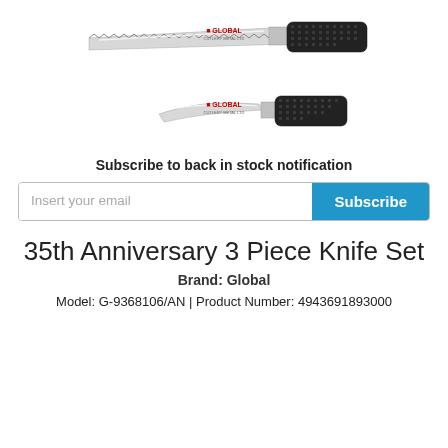[Figure (photo): Two Global brand knives shown horizontally: a serrated bread knife on top and a smaller curved blade knife below, both with black dimpled handles and stainless steel blades.]
Subscribe to back in stock notification
Insert your email | Subscribe
35th Anniversary 3 Piece Knife Set
Brand: Global
Model: G-9368106/AN | Product Number: 4943691893000